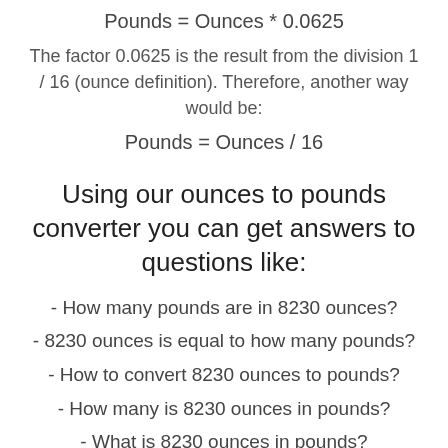The factor 0.0625 is the result from the division 1 / 16 (ounce definition). Therefore, another way would be:
Using our ounces to pounds converter you can get answers to questions like:
- How many pounds are in 8230 ounces?
- 8230 ounces is equal to how many pounds?
- How to convert 8230 ounces to pounds?
- How many is 8230 ounces in pounds?
- What is 8230 ounces in pounds?